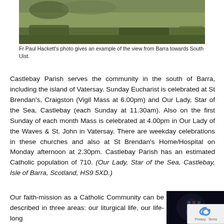[Figure (photo): Landscape photo showing a view from Barra towards South Uist, with mossy rocks and a boat visible]
Fr Paul Hackett's photo gives an example of the view from Barra towards South Uist.
Castlebay Parish serves the community in the south of Barra, including the island of Vatersay. Sunday Eucharist is celebrated at St Brendan's, Craigston (Vigil Mass at 6.00pm) and Our Lady, Star of the Sea, Castlebay (each Sunday at 11.30am). Also on the first Sunday of each month Mass is celebrated at 4.00pm in Our Lady of the Waves & St. John in Vatersay. There are weekday celebrations in these churches and also at St Brendan's Home/Hospital on Monday afternoon at 2.30pm. Castlebay Parish has an estimated Catholic population of 710. (Our Lady, Star of the Sea, Castlebay, Isle of Barra, Scotland, HS9 5XD.)
Our faith-mission as a Catholic Community can be described in three areas: our liturgical life, our life-long
[Figure (photo): Dark interior photo of a church showing stained glass window]